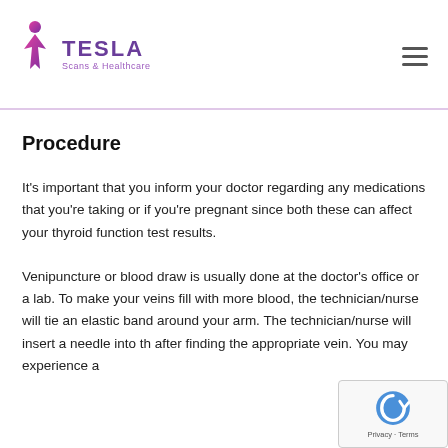TESLA Scans & Healthcare
Procedure
It's important that you inform your doctor regarding any medications that you're taking or if you're pregnant since both these can affect your thyroid function test results.
Venipuncture or blood draw is usually done at the doctor's office or a lab. To make your veins fill with more blood, the technician/nurse will tie an elastic band around your arm. The technician/nurse will insert a needle into the after finding the appropriate vein. You may experience a